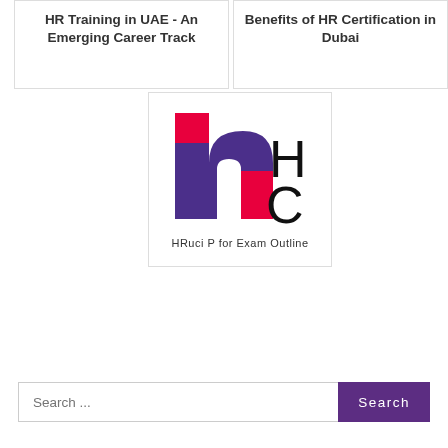HR Training in UAE - An Emerging Career Track
Benefits of HR Certification in Dubai
[Figure (logo): HRuci HC logo with stylized purple and red 'h' letterform alongside large 'H' and 'C' letters in black]
HRuci P for Exam Outline